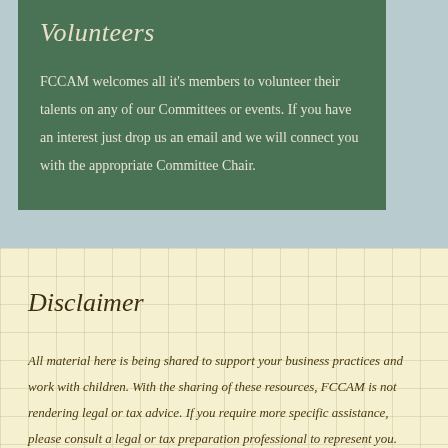Volunteers
FCCAM welcomes all it's members to volunteer their talents on any of our Committees or events. If you have an interest just drop us an email and we will connect you with the appropriate Committee Chair.
Disclaimer
All material here is being shared to support your business practices and work with children. With the sharing of these resources, FCCAM is not rendering legal or tax advice. If you require more specific assistance, please consult a legal or tax preparation professional to represent you.